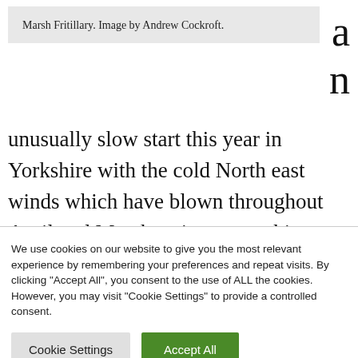Marsh Fritillary. Image by Andrew Cockroft.
an unusually slow start this year in Yorkshire with the cold North east winds which have blown throughout April and May keeping every thing on hold. Whilst there have been some butterflies the
We use cookies on our website to give you the most relevant experience by remembering your preferences and repeat visits. By clicking "Accept All", you consent to the use of ALL the cookies. However, you may visit "Cookie Settings" to provide a controlled consent.